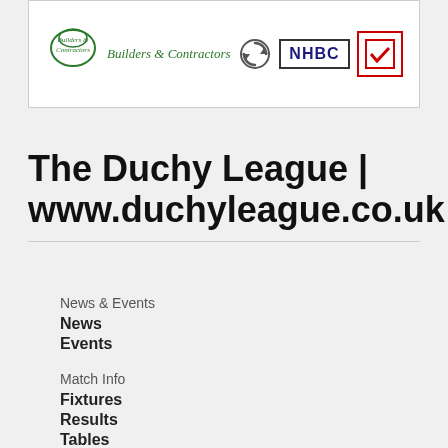[Figure (logo): Company logos banner: green builders & contractors logo on left with cursive text, circular recycling-style logo in center, NHBC logo in navy box, and a red checkmark certification badge on right]
The Duchy League | www.duchyleague.co.uk
News & Events
News
Events
Match Info
Fixtures
Results
Tables
Results Grid